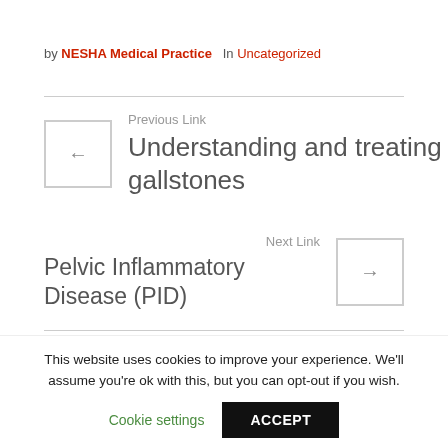by NESHA Medical Practice   In Uncategorized
Previous Link
Understanding and treating gallstones
Next Link
Pelvic Inflammatory Disease (PID)
This website uses cookies to improve your experience. We'll assume you're ok with this, but you can opt-out if you wish.
Cookie settings
ACCEPT